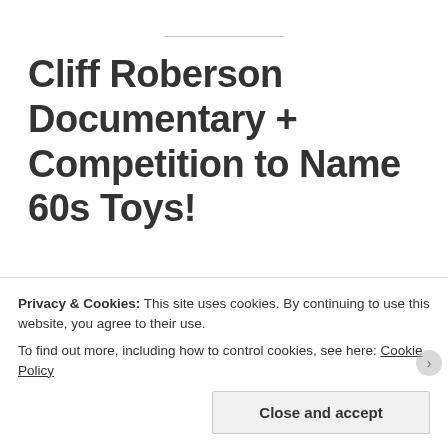Cliff Roberson Documentary + Competition to Name 60s Toys!
A very brief post this week because I am so busy writing the climax to Ordo Lupus III!
Cliff Roberson Documentary...
Privacy & Cookies: This site uses cookies. By continuing to use this website, you agree to their use. To find out more, including how to control cookies, see here: Cookie Policy
Close and accept